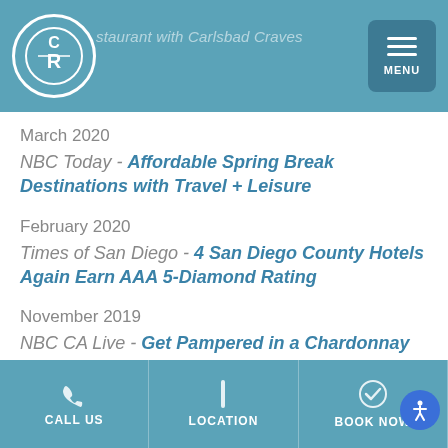Restaurant with Carlsbad Craves — MENU
March 2020
NBC Today - Affordable Spring Break Destinations with Travel + Leisure
February 2020
Times of San Diego - 4 San Diego County Hotels Again Earn AAA 5-Diamond Rating
November 2019
NBC CA Live - Get Pampered in a Chardonnay Bath
CALL US   LOCATION   BOOK NOW